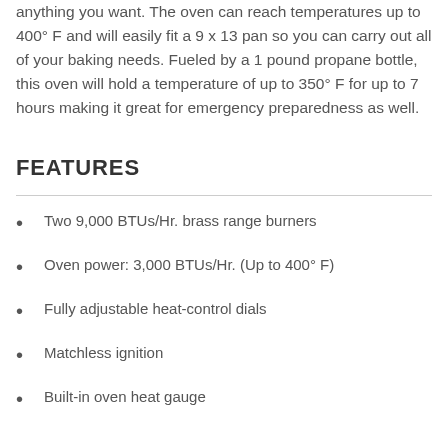anything you want. The oven can reach temperatures up to 400° F and will easily fit a 9 x 13 pan so you can carry out all of your baking needs. Fueled by a 1 pound propane bottle, this oven will hold a temperature of up to 350° F for up to 7 hours making it great for emergency preparedness as well.
FEATURES
Two 9,000 BTUs/Hr. brass range burners
Oven power: 3,000 BTUs/Hr. (Up to 400° F)
Fully adjustable heat-control dials
Matchless ignition
Built-in oven heat gauge